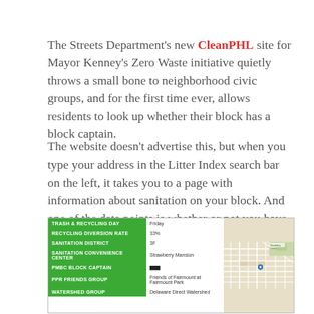The Streets Department's new CleanPHL site for Mayor Kenney's Zero Waste initiative quietly throws a small bone to neighborhood civic groups, and for the first time ever, allows residents to look up whether their block has a block captain.
The website doesn't advertise this, but when you type your address in the Litter Index search bar on the left, it takes you to a page with information about sanitation on your block. And one of the data points is whether or not you have a PMBC (Philadelphia More Beautiful Committee) block captain.
[Figure (screenshot): Screenshot of the CleanPHL website showing a table with sanitation data on the left (Trash & Recycling Day: Friday, Recycling Diversion Rate: 33%, Sanitation District: 3F, Sanitation Convenience Center: Strawberry Mansion, PMBC Block Captain: [redacted], PPR Friends Group: Friends of Fairmount at Fairmount Park, Watershed Group: Delaware Direct Watershed) and a map on the right with a blue location pin.]